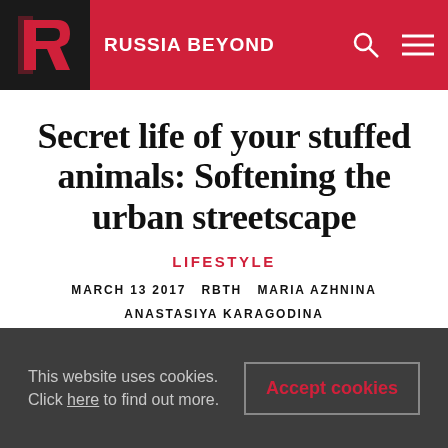RUSSIA BEYOND
Secret life of your stuffed animals: Softening the urban streetscape
LIFESTYLE
MARCH 13 2017   RBTH   MARIA AZHNINA
ANASTASIYA KARAGODINA
[Figure (photo): Partial image strip showing stuffed animals in urban setting]
This website uses cookies. Click here to find out more.